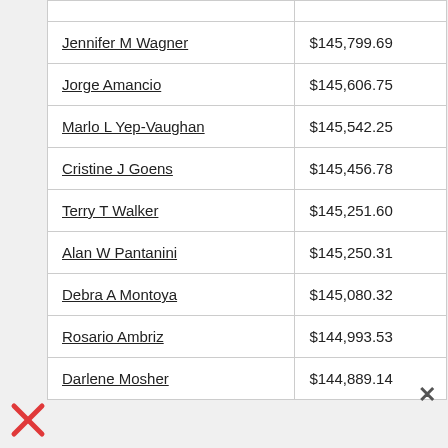| Name | Amount |
| --- | --- |
| Jennifer M Wagner | $145,799.69 |
| Jorge Amancio | $145,606.75 |
| Marlo L Yep-Vaughan | $145,542.25 |
| Cristine J Goens | $145,456.78 |
| Terry T Walker | $145,251.60 |
| Alan W Pantanini | $145,250.31 |
| Debra A Montoya | $145,080.32 |
| Rosario Ambriz | $144,993.53 |
| Darlene Mosher | $144,889.14 |